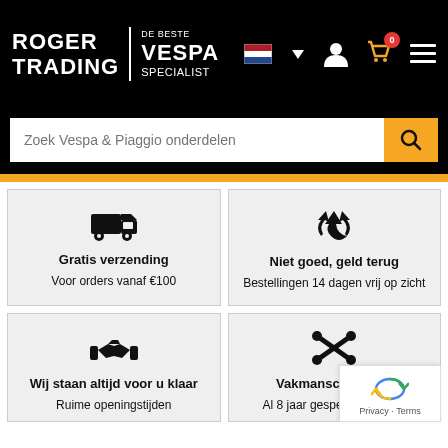ROGER TRADING | DE BESTE VESPA SPECIALIST
Zoek Vespa & Piaggio onderdelen
[Figure (infographic): Truck delivery icon for Gratis verzending feature card]
Gratis verzending
Voor orders vanaf €100
[Figure (infographic): Recycle arrows icon for Niet goed, geld terug feature card]
Niet goed, geld terug
Bestellingen 14 dagen vrij op zicht
[Figure (infographic): Handshake icon for Wij staan altijd voor u klaar feature card]
Wij staan altijd voor u klaar
Ruime openingstijden
[Figure (infographic): Wrench tools icon for Vakmanschap en k feature card]
Vakmanschap en k
Al 8 jaar gespecialiseerd in